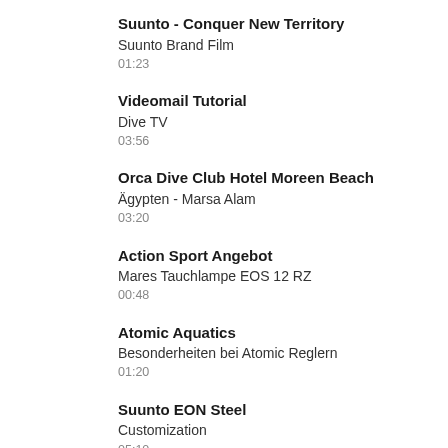Suunto - Conquer New Territory
Suunto Brand Film
01:23
Videomail Tutorial
Dive TV
03:56
Orca Dive Club Hotel Moreen Beach
Ägypten - Marsa Alam
03:20
Action Sport Angebot
Mares Tauchlampe EOS 12 RZ
00:48
Atomic Aquatics
Besonderheiten bei Atomic Reglern
01:20
Suunto EON Steel
Customization
05:10
Suunto EON Steel
Generelle Settings
02:01
Suunto EON Steel
Kompass Kalibrieren
01:02